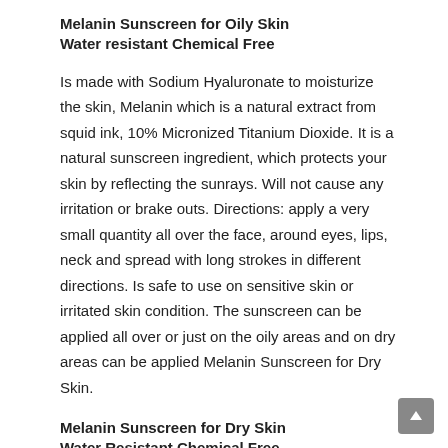Melanin Sunscreen for Oily Skin
Water resistant Chemical Free
Is made with Sodium Hyaluronate to moisturize the skin, Melanin which is a natural extract from squid ink, 10% Micronized Titanium Dioxide. It is a natural sunscreen ingredient, which protects your skin by reflecting the sunrays. Will not cause any irritation or brake outs. Directions: apply a very small quantity all over the face, around eyes, lips, neck and spread with long strokes in different directions. Is safe to use on sensitive skin or irritated skin condition. The sunscreen can be applied all over or just on the oily areas and on dry areas can be applied Melanin Sunscreen for Dry Skin.
Melanin Sunscreen for Dry Skin
Water Resistant Chemical Free
Made with Sodium Hyaluronate and 10% Micronized Titanium Dioxide which is a natural sunscreen ingredient, that protects your skin by reflecting the sunrays. Also, contains Melanin